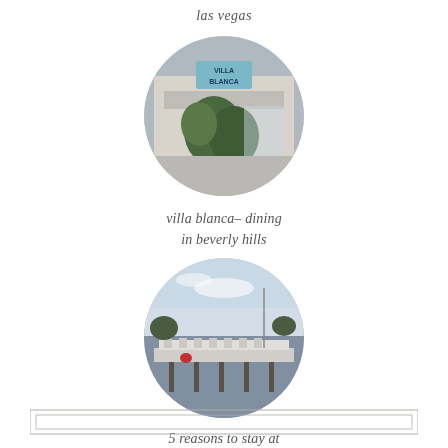las vegas
[Figure (photo): Circular photo of Villa Blanca restaurant exterior with sign and palm plants]
villa blanca– dining in beverly hills
[Figure (photo): Circular photo of a dock/pier at South Seas Resort in Captiva at sunset]
5 reasons to stay at south seas resort in captiva